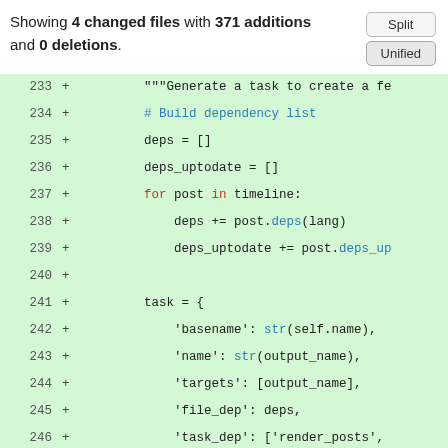Showing 4 changed files with 371 additions and 0 deletions.
[Figure (screenshot): Code diff view showing lines 233-250 of a Python file with additions (green background). Lines include string literal, comment, variable assignments, for loop, dictionary construction with keys basename, name, targets, file_dep, task_dep, actions, uptodate.]
Split / Unified buttons